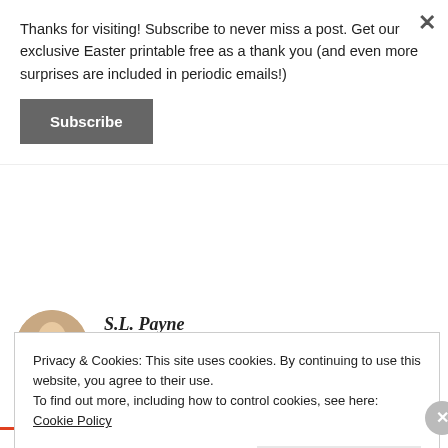Thanks for visiting! Subscribe to never miss a post. Get our exclusive Easter printable free as a thank you (and even more surprises are included in periodic emails!)
Subscribe
S.L. Payne
AUGUST 4, 2014 AT 12:57 PM
Thanks, Kaylene! Thanks for visiting!
Privacy & Cookies: This site uses cookies. By continuing to use this website, you agree to their use. To find out more, including how to control cookies, see here: Cookie Policy
Close and accept